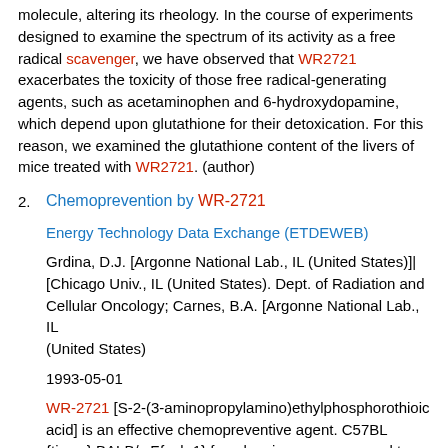molecule, altering its rheology. In the course of experiments designed to examine the spectrum of its activity as a free radical scavenger, we have observed that WR2721 exacerbates the toxicity of those free radical-generating agents, such as acetaminophen and 6-hydroxydopamine, which depend upon glutathione for their detoxication. For this reason, we examined the glutathione content of the livers of mice treated with WR2721. (author)
2. Chemoprevention by WR-2721
Energy Technology Data Exchange (ETDEWEB)
Grdina, D.J. [Argonne National Lab., IL (United States)]| [Chicago Univ., IL (United States). Dept. of Radiation and Cellular Oncology; Carnes, B.A. [Argonne National Lab., IL (United States)
1993-05-01
WR-2721 [S-2-(3-aminopropylamino)ethylphosphorothioic acid] is an effective chemopreventive agent. C57BL {times} BALB/c F{sub 1} female mice, were exposed to a single whole-body dose of 206 cGy from a {sup 60}Co photon source. Those